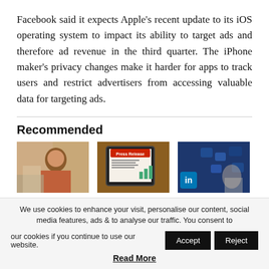Facebook said it expects Apple's recent update to its iOS operating system to impact its ability to target ads and therefore ad revenue in the third quarter. The iPhone maker's privacy changes make it harder for apps to track users and restrict advertisers from accessing valuable data for targeting ads.
Recommended
[Figure (photo): Woman sitting at a table, smiling]
[Figure (photo): Tablet showing a Press Release document on a wooden table]
[Figure (photo): Hand pointing at LinkedIn and social media icons on a blue digital background]
Media Placement
Here is How to Get Your Press
The Linkedin Influencer
We use cookies to enhance your visit, personalise our content, social media features, ads & to analyse our traffic. You consent to our cookies if you continue to use our website.
Read More